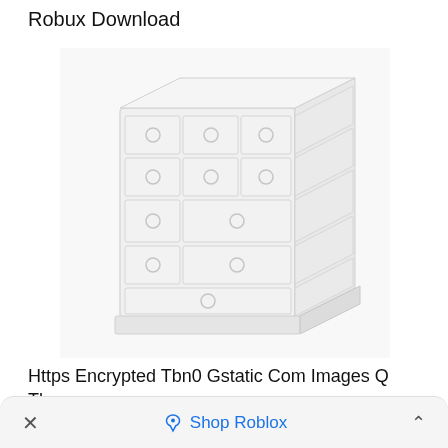Robux Download
[Figure (illustration): A white wooden dresser/chest of drawers illustrated in a light sketch style, shown in 3/4 perspective view with multiple drawers each having circular ring handles.]
Https Encrypted Tbn0 Gstatic Com Images Q Tbn
× Shop Roblox ^